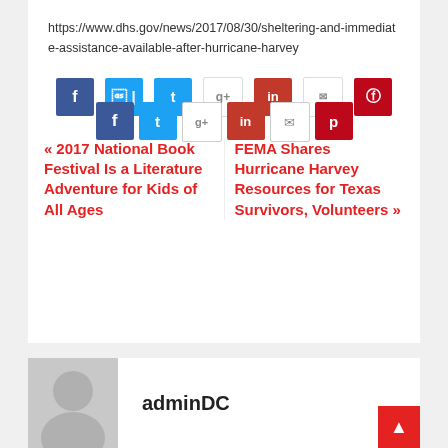https://www.dhs.gov/news/2017/08/30/sheltering-and-immediate-assistance-available-after-hurricane-harvey
[Figure (other): Social media sharing buttons: Facebook (blue), Twitter (light blue), Google+ (white/gray border), LinkedIn (red), Email (white/gray border), Pinterest (dark red)]
« 2017 National Book Festival Is a Literature Adventure for Kids of All Ages
FEMA Shares Hurricane Harvey Resources for Texas Survivors, Volunteers »
adminDC